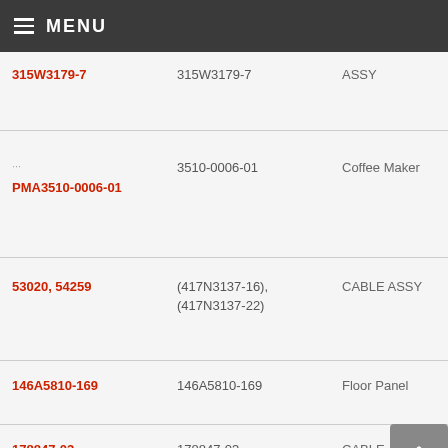MENU
| Part Number | Part Number | Description |  |
| --- | --- | --- | --- |
| 315W3179-7 | 315W3179-7 | ASSY | S |
| PMA3510-0006-01 | 3510-0006-01 | Coffee Maker | 2 |
| 53020, 54259 | (417N3137-16), (417N3137-22) | CABLE ASSY | S |
| 146A5810-169 | 146A5810-169 | Floor Panel | B S |
| 178847-03 | 178847-03 | CABLE ASSY, USB DISC TO 3 USB | B S |